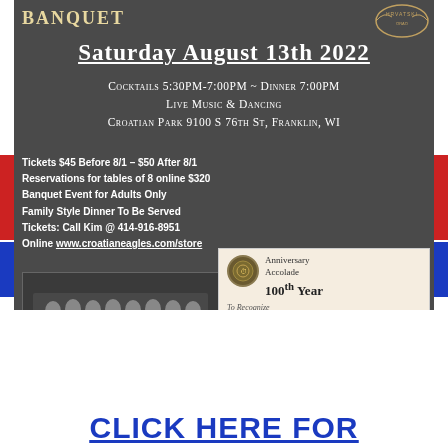BANQUET
SATURDAY AUGUST 13TH 2022
Cocktails 5:30PM-7:00PM ~ Dinner 7:00PM
Live Music & Dancing
Croatian Park 9100 S 76th St, Franklin, WI
Tickets $45 Before 8/1 – $50 After 8/1
Reservations for tables of 8 online $320
Banquet Event for Adults Only
Family Style Dinner To Be Served
Tickets: Call Kim @ 414-916-8951
Online www.croatianeagles.com/store
[Figure (photo): Black and white historical photo of the First Croatian Eagles Soccer Team 1922 with player names listed below]
[Figure (other): Milwaukee County Historical Society Anniversary Accolade 100th Year certificate recognizing Croatian Eagles Soccer Club]
CLICK HERE FOR